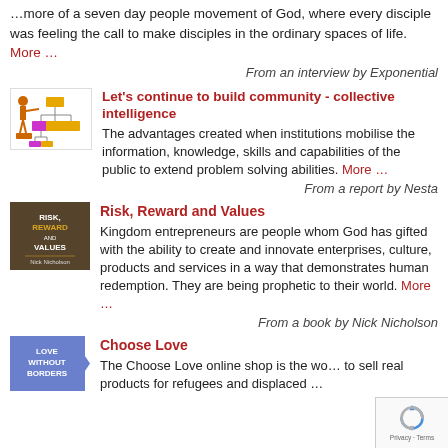…more of a seven day people movement of God, where every disciple was feeling the call to make disciples in the ordinary spaces of life. More …
From an interview by Exponential
[Figure (illustration): Illustration of a person presenting to an org chart/diagram with colored boxes]
Let's continue to build community - collective intelligence
The advantages created when institutions mobilise the information, knowledge, skills and capabilities of the public to extend problem solving abilities. More …
From a report by Nesta
[Figure (photo): Book cover for Risk, Reward and Values — dark brown/gold toned cover with text]
Risk, Reward and Values
Kingdom entrepreneurs are people whom God has gifted with the ability to create and innovate enterprises, culture, products and services in a way that demonstrates human redemption. They are being prophetic to their world. More …
From a book by Nick Nicholson
[Figure (logo): Choose Love / Love Without Borders logo — blue/purple background with white text and arrow]
Choose Love
The Choose Love online shop is the wo… to sell real products for refugees and displaced …